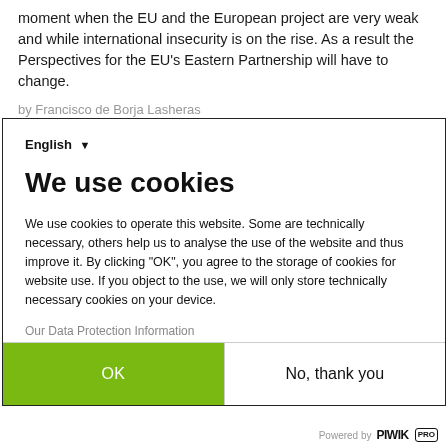moment when the EU and the European project are very weak and while international insecurity is on the rise. As a result the Perspectives for the EU's Eastern Partnership will have to change.
by Francisco de Borja Lasheras
English ▾
We use cookies
We use cookies to operate this website. Some are technically necessary, others help us to analyse the use of the website and thus improve it. By clicking "OK", you agree to the storage of cookies for website use. If you object to the use, we will only store technically necessary cookies on your device.
Our Data Protection Information
OK
No, thank you
Powered by PIWIK PRO